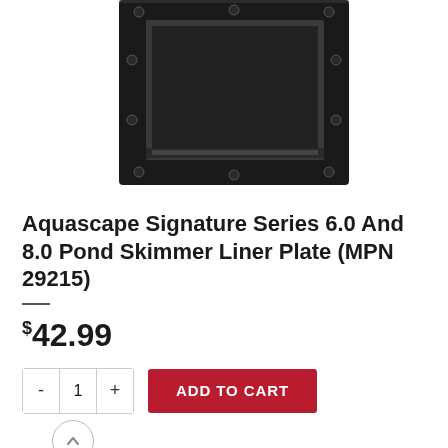[Figure (photo): Product photo of a black square metal pond skimmer liner plate with mounting holes and a rectangular opening, partially cropped at top, shown on white background.]
Aquascape Signature Series 6.0 And 8.0 Pond Skimmer Liner Plate (MPN 29215)
$42.99
- 1 +  ADD TO CART